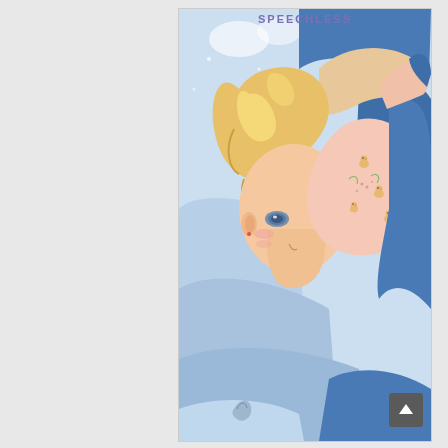SPEECHLESS
[Figure (illustration): Manga/webtoon illustration showing a blonde male character with blue-grey eyes lying down on blue-grey bedding, pressing his face close to another character's bare skin which has small chick/bird pattern tattoos or prints on it. The scene has a soft, romantic feel with light blue and pink tones.]